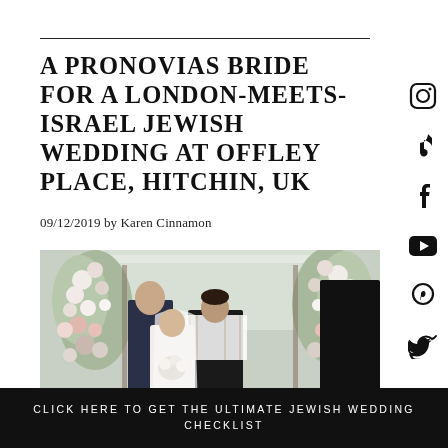A PRONOVIAS BRIDE FOR A LONDON-MEETS-ISRAEL JEWISH WEDDING AT OFFLEY PLACE, HITCHIN, UK
09/12/2019 by Karen Cinnamon
[Figure (photo): Wedding ceremony photo showing bride in white dress and groom in black suit with tallit shawl under a floral chuppah arch decorated with white and pink roses, with attendees in background]
CLOSE
CLICK HERE TO GET THE ULTIMATE JEWISH WEDDING CHECKLIST